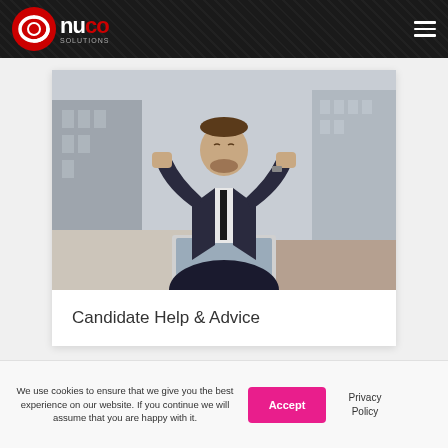NuCo Solutions
[Figure (photo): A man in a dark suit with fists raised in a victory pose, sitting in front of a laptop on an outdoor urban street. Buildings visible in background.]
Candidate Help & Advice
We use cookies to ensure that we give you the best experience on our website. If you continue we will assume that you are happy with it.
Accept
Privacy Policy